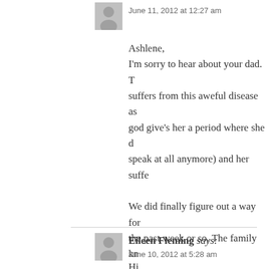[Figure (illustration): Grey avatar icon of a person silhouette]
June 11, 2012 at 12:27 am
Ashlene,
I'm sorry to hear about your dad. T... suffers from this aweful disease as... god give's her a period where she d... speak at all anymore) and her suffe...

We did finally figure out a way for... the past week or so. The family kn...

I hope you and your family are doi...
[Figure (illustration): Grey avatar icon of a person silhouette]
Eileen Fleming says:
June 10, 2012 at 5:28 am
Hi